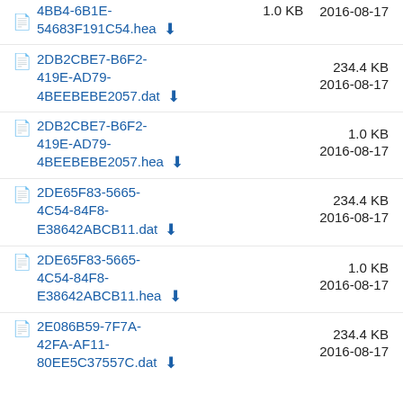4BB4-6B1E-54683F191C54.hea  1.0 KB  2016-08-17
2DB2CBE7-B6F2-419E-AD79-4BEEBEBE2057.dat  234.4 KB  2016-08-17
2DB2CBE7-B6F2-419E-AD79-4BEEBEBE2057.hea  1.0 KB  2016-08-17
2DE65F83-5665-4C54-84F8-E38642ABCB11.dat  234.4 KB  2016-08-17
2DE65F83-5665-4C54-84F8-E38642ABCB11.hea  1.0 KB  2016-08-17
2E086B59-7F7A-42FA-AF11-80EE5C37557C.dat  234.4 KB  2016-08-17